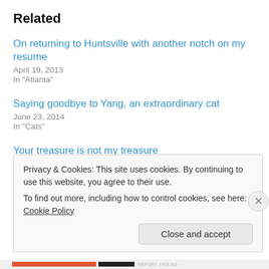Related
On returning to Huntsville with another notch on my resume
April 19, 2013
In "Atlanta"
Saying goodbye to Yang, an extraordinary cat
June 23, 2014
In "Cats"
Your treasure is not my treasure
May 17, 2011
In "Family"
Privacy & Cookies: This site uses cookies. By continuing to use this website, you agree to their use.
To find out more, including how to control cookies, see here: Cookie Policy
Close and accept